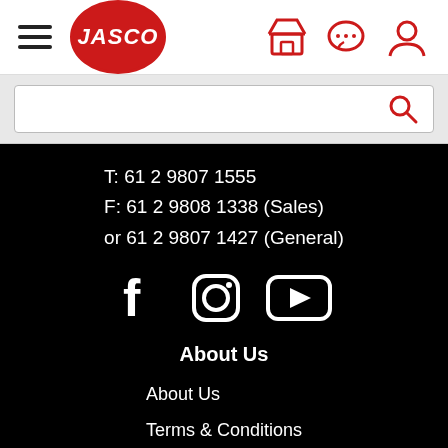[Figure (logo): Jasco logo: red oval with white italic bold text JASCO, hamburger menu icon on left, store/chat/user icons on right]
[Figure (screenshot): Search bar with magnifying glass icon on right]
T: 61 2 9807 1555
F: 61 2 9808 1338 (Sales)
or 61 2 9807 1427 (General)
[Figure (illustration): Social media icons: Facebook, Instagram, YouTube]
About Us
About Us
Terms & Conditions
Warranty Policy
Delivery Policy